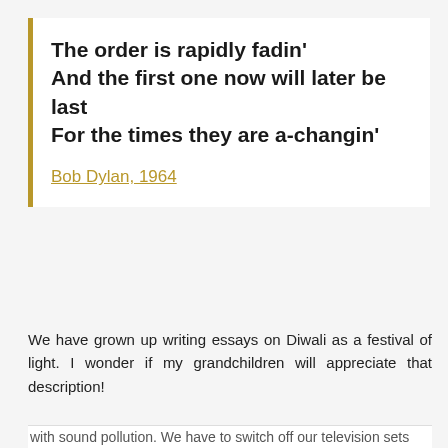The order is rapidly fadin'
And the first one now will later be last
For the times they are a-changin'

Bob Dylan, 1964
We have grown up writing essays on Diwali as a festival of light. I wonder if my grandchildren will appreciate that description!
Privacy & Cookies: This site uses cookies. By continuing to use this website, you agree to their use.
To find out more, including how to control cookies, see here: Cookie Policy

Close and accept
with sound pollution. We have to switch off our television sets